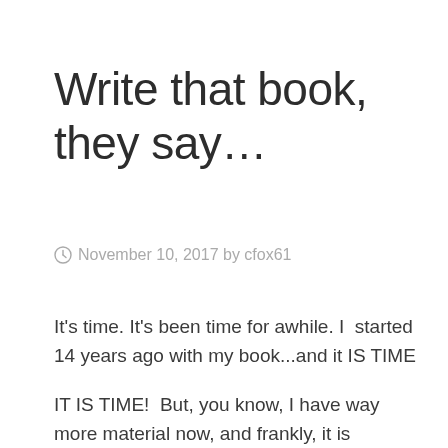Write that book, they say…
November 10, 2017 by cfox61
It's time. It's been time for awhile. I  started 14 years ago with my book...and it IS TIME
IT IS TIME!  But, you know, I have way more material now, and frankly, it is good.      I will certainly be exposed. I will probably offend people. I will also engage people. People who